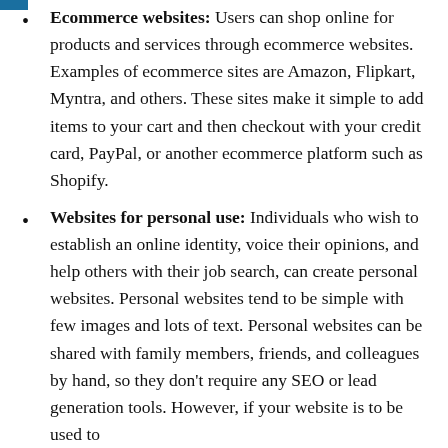Ecommerce websites: Users can shop online for products and services through ecommerce websites. Examples of ecommerce sites are Amazon, Flipkart, Myntra, and others. These sites make it simple to add items to your cart and then checkout with your credit card, PayPal, or another ecommerce platform such as Shopify.
Websites for personal use: Individuals who wish to establish an online identity, voice their opinions, and help others with their job search, can create personal websites. Personal websites tend to be simple with few images and lots of text. Personal websites can be shared with family members, friends, and colleagues by hand, so they don't require any SEO or lead generation tools. However, if your website is to be used to